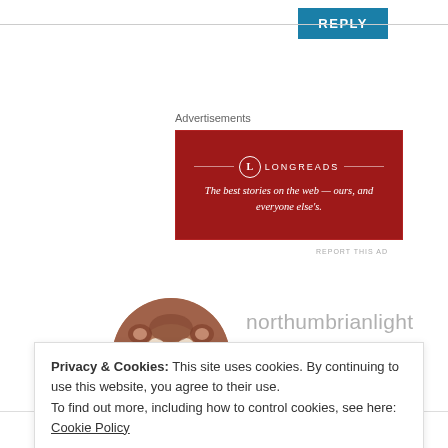[Figure (other): REPLY button, teal/blue background, top right]
Advertisements
[Figure (other): Longreads advertisement banner, dark red background. Longreads logo and tagline: The best stories on the web — ours, and everyone else's.]
REPORT THIS AD
[Figure (photo): Circular avatar photo of a meerkat or groundhog animal face]
northumbrianlight
AUGUST 21, 2013 AT 11:07 AM
Yummy! 😞
Privacy & Cookies: This site uses cookies. By continuing to use this website, you agree to their use.
To find out more, including how to control cookies, see here: Cookie Policy
Close and accept
[Figure (photo): Partial bottom strip showing another user's avatar (colorful blue/purple) and partial username text]